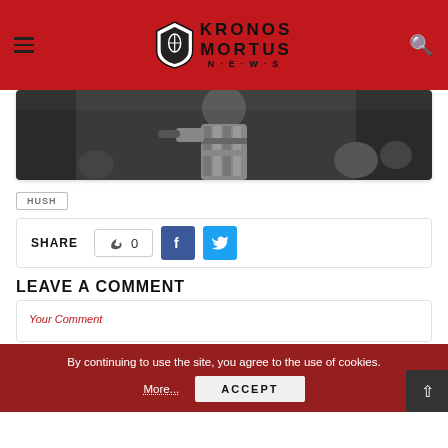Kronos Mortus News
[Figure (photo): Black and white photo of a bearded male performer on stage, shot from behind, holding a microphone]
HUSH
SHARE  0
LEAVE A COMMENT
By continuing to use the site, you agree to the use of cookies.
More...
ACCEPT
Your Comment